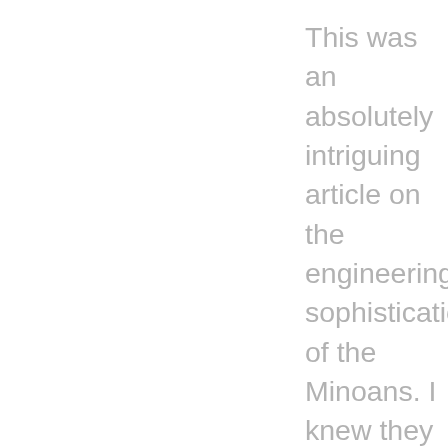This was an absolutely intriguing article on the engineering sophistication of the Minoans. I knew they were technically advanced, but had no idea that that had clay pipes similar to our modern times to carry water into the city and to dispose sewage. The Ancient Minoan civilizations continues to amaze me with their architecture and rich mythology. The statue of Theseus Slaying Minotaur was a stunning work of art.
Thank you again for sharing your expertise in this period. I look forward to your e-mail.
Best wishes for a wonderful weekend, my